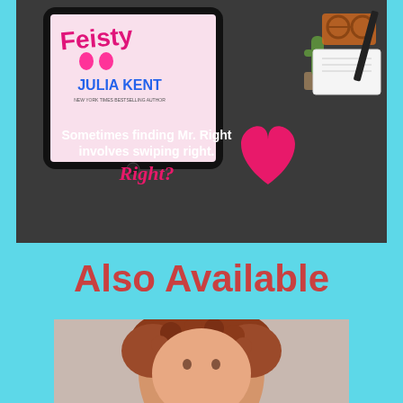[Figure (illustration): Book promotional image for 'Feisty' by Julia Kent. Shows a tablet/iPad displaying the book cover with 'JULIA KENT' and 'NEW YORK TIMES BESTSELLING AUTHOR' text, surrounded by a cactus, glasses, notebook, and a pink heart on a dark background. Text overlay reads: 'Sometimes finding Mr. Right involves swiping right. Right?']
Also Available
[Figure (photo): Photo of a woman with curly red/auburn hair, partially visible at bottom of page.]